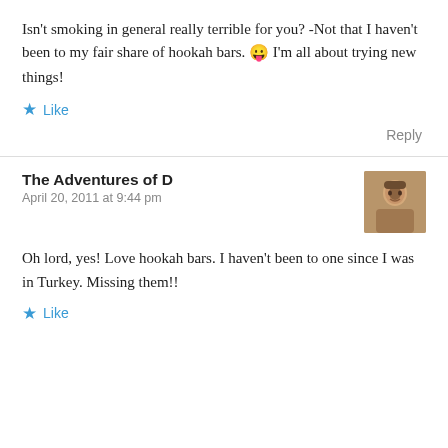Isn't smoking in general really terrible for you? -Not that I haven't been to my fair share of hookah bars. 😛 I'm all about trying new things!
Like
Reply
The Adventures of D
April 20, 2011 at 9:44 pm
Oh lord, yes! Love hookah bars. I haven't been to one since I was in Turkey. Missing them!!
Like